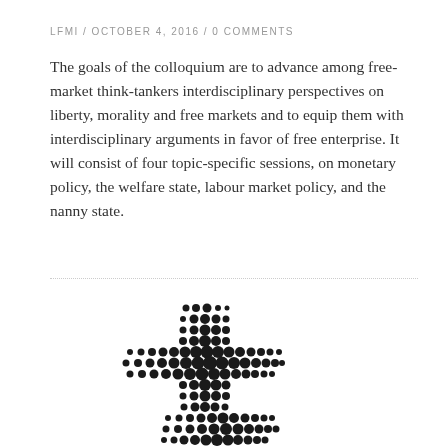LFMI / OCTOBER 4, 2016 / 0 COMMENTS
The goals of the colloquium are to advance among free-market think-tankers interdisciplinary perspectives on liberty, morality and free markets and to equip them with interdisciplinary arguments in favor of free enterprise. It will consist of four topic-specific sessions, on monetary policy, the welfare state, labour market policy, and the nanny state.
[Figure (logo): A stylized cross/plus shape made of dots of varying sizes, arranged to form a logo mark. The dots are black on white background.]